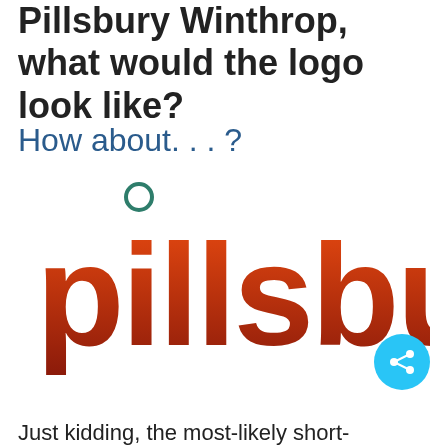Pillsbury Winthrop, what would the logo look like?
How about. . . ?
[Figure (logo): A logo-style rendering of the word 'pillsbury' in a bold sans-serif font with a gradient from orange-red at the top to dark red at the bottom, and a teal/green circle dot above the letter 'i'.]
Just kidding, the most-likely short-